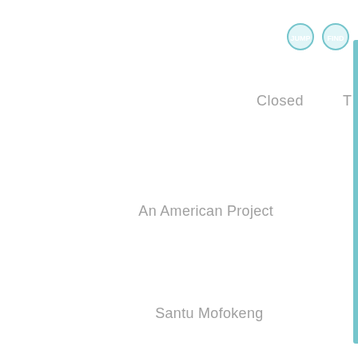[Figure (screenshot): Navigation UI buttons: circular teal-outlined buttons labeled JUMP and FIND]
Closed
T
An American Project
Santu Mofokeng